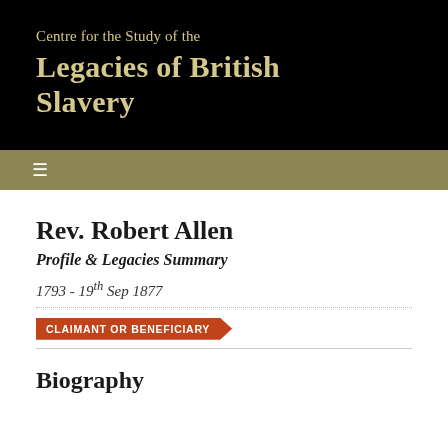Centre for the Study of the Legacies of British Slavery
Rev. Robert Allen
Profile & Legacies Summary
1793 - 19th Sep 1877
CLAIMANT OR BENEFICIARY
Biography